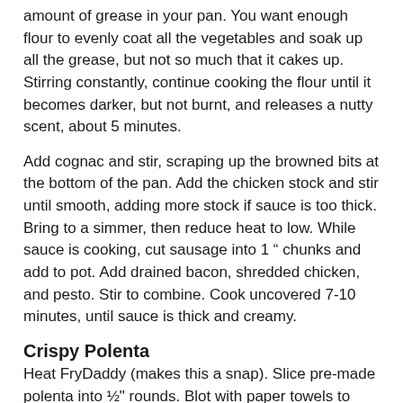amount of grease in your pan. You want enough flour to evenly coat all the vegetables and soak up all the grease, but not so much that it cakes up. Stirring constantly, continue cooking the flour until it becomes darker, but not burnt, and releases a nutty scent, about 5 minutes.
Add cognac and stir, scraping up the browned bits at the bottom of the pan. Add the chicken stock and stir until smooth, adding more stock if sauce is too thick. Bring to a simmer, then reduce heat to low. While sauce is cooking, cut sausage into 1 " chunks and add to pot. Add drained bacon, shredded chicken, and pesto. Stir to combine. Cook uncovered 7-10 minutes, until sauce is thick and creamy.
Crispy Polenta
Heat FryDaddy (makes this a snap). Slice pre-made polenta into ½" rounds. Blot with paper towels to remove any extra moisture. Gently place in heated oil, frying until golden brown, turning once to ensure even frying. Drain on paper towels. Sprinkle with kosher salt.
Frizzled Sage